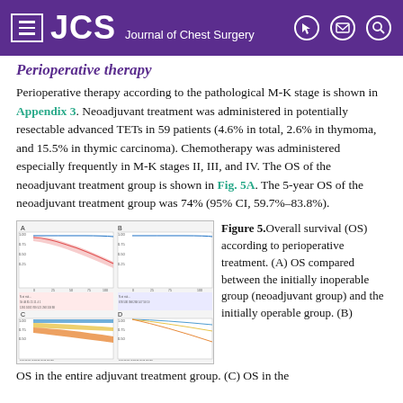JCS Journal of Chest Surgery
Perioperative therapy
Perioperative therapy according to the pathological M-K stage is shown in Appendix 3. Neoadjuvant treatment was administered in potentially resectable advanced TETs in 59 patients (4.6% in total, 2.6% in thymoma, and 15.5% in thymic carcinoma). Chemotherapy was administered especially frequently in M-K stages II, III, and IV. The OS of the neoadjuvant treatment group is shown in Fig. 5A. The 5-year OS of the neoadjuvant treatment group was 74% (95% CI, 59.7%–83.8%).
[Figure (continuous-plot): Four-panel survival curve figure (A, B, C, D) showing overall survival (OS) according to perioperative treatment groups including neoadjuvant and adjuvant treatment comparisons.]
Figure 5. Overall survival (OS) according to perioperative treatment. (A) OS compared between the initially inoperable group (neoadjuvant group) and the initially operable group. (B) OS in the entire adjuvant treatment group. (C) OS in the